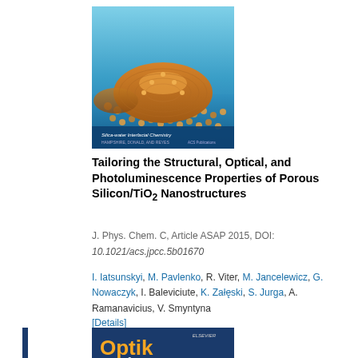[Figure (photo): Journal cover image for J. Phys. Chem. C showing a 3D nanostructure landscape with orange dune-like shapes and spherical particles on a blue background]
Tailoring the Structural, Optical, and Photoluminescence Properties of Porous Silicon/TiO2 Nanostructures
J. Phys. Chem. C, Article ASAP 2015, DOI:
10.1021/acs.jpcc.5b01670
I. Iatsunskyi, M. Pavlenko, R. Viter, M. Jancelewicz, G. Nowaczyk, I. Baleviciute, K. Załęski, S. Jurga, A. Ramanavicius, V. Smyntyna
[Details]
[Figure (photo): Journal cover image for Optik Optics - International Journal for Light and Electron Optics, showing the journal title in gold and white text on a dark blue background with a white content area below]